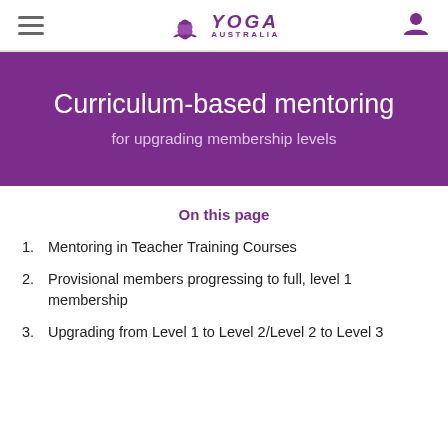Yoga Australia — navigation header
Curriculum-based mentoring
for upgrading membership levels
On this page
Mentoring in Teacher Training Courses
Provisional members progressing to full, level 1 membership
Upgrading from Level 1 to Level 2/Level 2 to Level 3